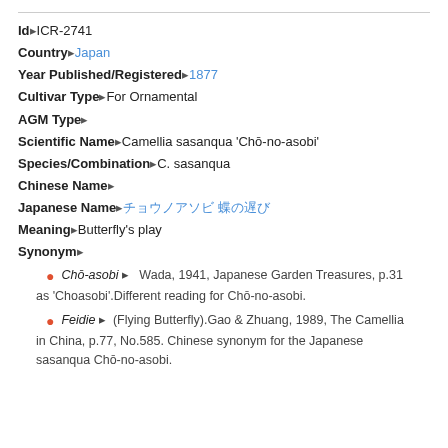Id: ICR-2741
Country: Japan
Year Published/Registered: 1877
Cultivar Type: For Ornamental
AGM Type:
Scientific Name: Camellia sasanqua 'Chō-no-asobi'
Species/Combination: C. sasanqua
Chinese Name:
Japanese Name: チョウノアソビ 蝶の遊び
Meaning: Butterfly's play
Synonym:
Chō-asobi — Wada, 1941, Japanese Garden Treasures, p.31 as 'Choasobi'. Different reading for Chō-no-asobi.
Feidie — (Flying Butterfly). Gao & Zhuang, 1989, The Camellia in China, p.77, No.585. Chinese synonym for the Japanese sasanqua Chō-no-asobi.